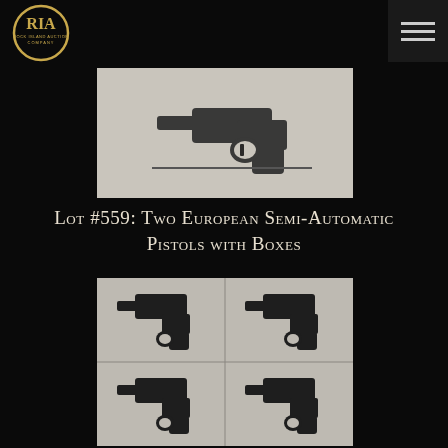[Figure (logo): Rock Island Auction Company (RIA) oval logo in gold/yellow on dark background]
[Figure (photo): Single semi-automatic pistol on black background with cleaning rod, top image]
Lot #559: Two European Semi-Automatic Pistols with Boxes
[Figure (photo): Four semi-automatic pistols shown in 2x2 grid on black background, bottom image]